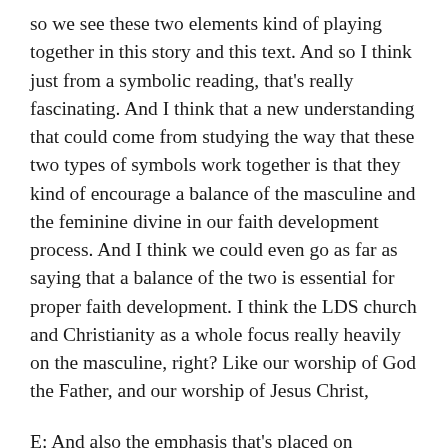so we see these two elements kind of playing together in this story and this text. And so I think just from a symbolic reading, that's really fascinating. And I think that a new understanding that could come from studying the way that these two types of symbols work together is that they kind of encourage a balance of the masculine and the feminine divine in our faith development process. And I think we could even go as far as saying that a balance of the two is essential for proper faith development. I think the LDS church and Christianity as a whole focus really heavily on the masculine, right? Like our worship of God the Father, and our worship of Jesus Christ,
E: And also the emphasis that's placed on knowledge and reason and certainty and proof. Those are all very masculine elements of faith, but in an Alma's story, if we're thinking about a masculine element of faith coming through the sun, he makes it really clear that